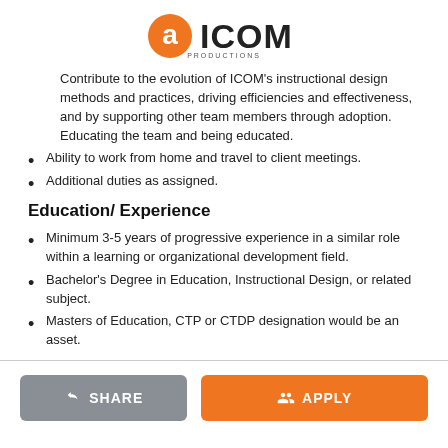[Figure (logo): AICOM Productions logo with orange gear/circle icon and bold text]
Contribute to the evolution of ICOM's instructional design methods and practices, driving efficiencies and effectiveness, and by supporting other team members through adoption. Educating the team and being educated.
Ability to work from home and travel to client meetings.
Additional duties as assigned.
Education/ Experience
Minimum 3-5 years of progressive experience in a similar role within a learning or organizational development field.
Bachelor's Degree in Education, Instructional Design, or related subject.
Masters of Education, CTP or CTDP designation would be an asset.